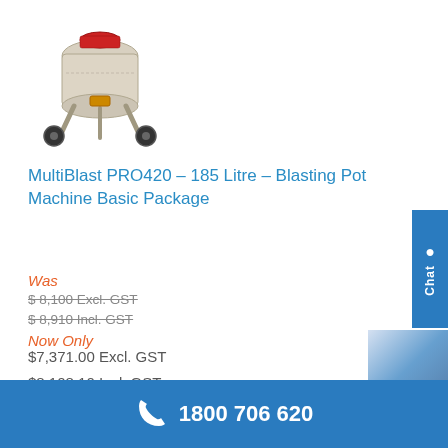[Figure (photo): MultiBlast PRO420 blasting pot machine shown from above, cream/beige colored with red and black components and wheels]
MultiBlast PRO420 – 185 Litre – Blasting Pot Machine Basic Package
Was
$ 8,100 Excl. GST
$ 8,910 Incl. GST
Now Only
$7,371.00 Excl. GST
$8,108.10 Incl. GST
Product ID: PRO420-185L-B
1800 706 620